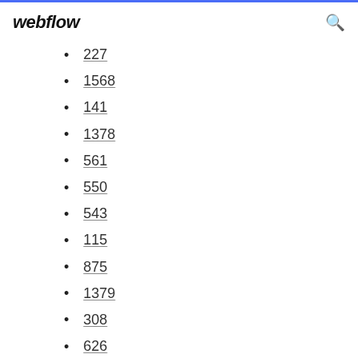webflow
227
1568
141
1378
561
550
543
115
875
1379
308
626